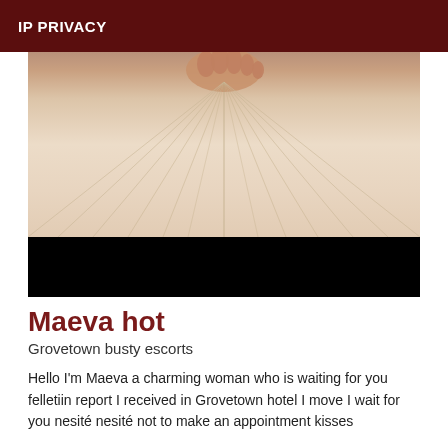IP PRIVACY
[Figure (photo): Photo showing fabric/bedsheet with radiating folds and feet visible at top, lower portion blacked out]
Maeva hot
Grovetown busty escorts
Hello I'm Maeva a charming woman who is waiting for you felletiin report I received in Grovetown hotel I move I wait for you nesité nesité not to make an appointment kisses